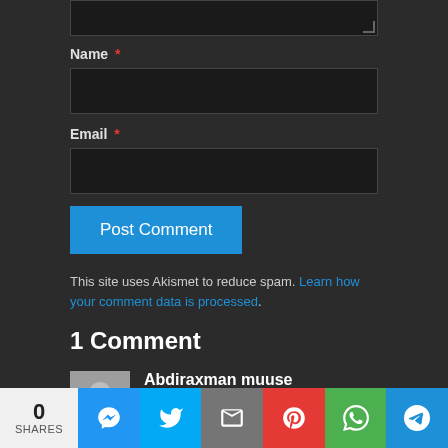[Figure (screenshot): Top portion of a textarea input stub visible at top of page]
Name *
[Figure (screenshot): Name input field (dark background text box)]
Email *
[Figure (screenshot): Email input field (dark background text box)]
Post Comment
This site uses Akismet to reduce spam. Learn how your comment data is processed.
1 Comment
Abdiraxman muuse
March 21, 2020 at 3:42 pm